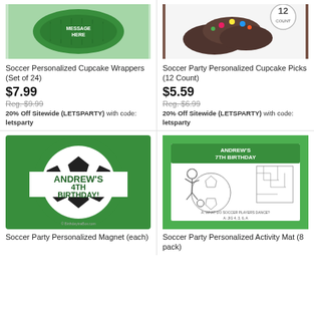[Figure (photo): Soccer personalized cupcake wrappers product image (green circular wrapper)]
Soccer Personalized Cupcake Wrappers (Set of 24)
$7.99
Reg. $9.99
20% Off Sitewide (LETSPARTY) with code: letsparty
[Figure (photo): Soccer Party Personalized Cupcake Picks product image (chocolate cupcakes with colorful picks, 12 count badge)]
Soccer Party Personalized Cupcake Picks (12 Count)
$5.59
Reg. $6.99
20% Off Sitewide (LETSPARTY) with code: letsparty
[Figure (photo): Soccer party personalized magnet showing soccer ball with ANDREW'S 4TH BIRTHDAY! text in green on white band]
Soccer Party Personalized Magnet (each)
[Figure (photo): Soccer Party Personalized Activity Mat showing a boy playing soccer with ANDREW'S 7TH BIRTHDAY header and activity areas]
Soccer Party Personalized Activity Mat (8 pack)